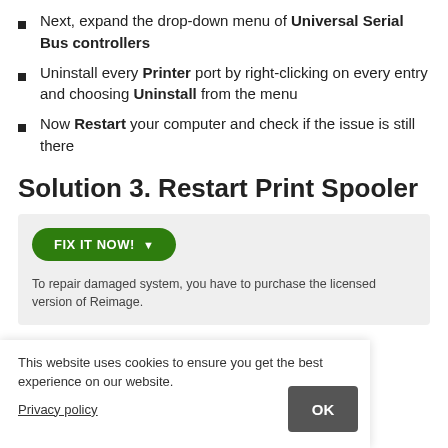Next, expand the drop-down menu of Universal Serial Bus controllers
Uninstall every Printer port by right-clicking on every entry and choosing Uninstall from the menu
Now Restart your computer and check if the issue is still there
Solution 3. Restart Print Spooler
[Figure (screenshot): A gray box containing a green 'FIX IT NOW!' button with dropdown arrow, and text: 'To repair damaged system, you have to purchase the licensed version of Reimage.']
box, and click on
louble-click on it
This website uses cookies to ensure you get the best experience on our website.
Privacy policy
OK